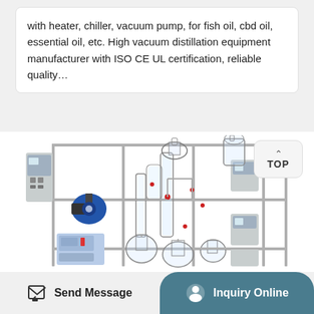with heater, chiller, vacuum pump, for fish oil, cbd oil, essential oil, etc. High vacuum distillation equipment manufacturer with ISO CE UL certification, reliable quality…
[Figure (photo): High vacuum distillation equipment: a large modular laboratory/industrial setup on a metal frame, including glass distillation columns, flasks, vacuum pumps, chillers, control panels, and connected tubing/piping components.]
Send Message
Inquiry Online